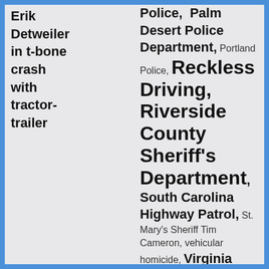Erik Detweiler in t-bone crash with tractor-trailer
Police, Palm Desert Police Department, Portland Police, Reckless Driving, Riverside County Sheriff's Department, South Carolina Highway Patrol, St. Mary's Sheriff Tim Cameron, vehicular homicide, Virginia State Police, Washington State